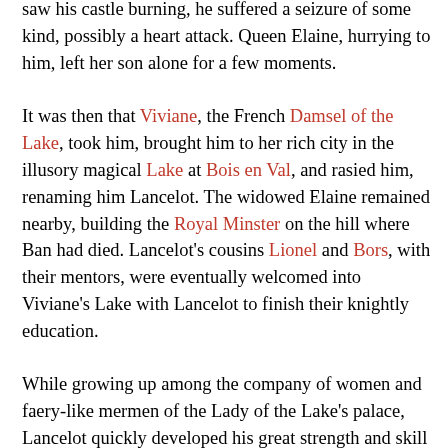saw his castle burning, he suffered a seizure of some kind, possibly a heart attack. Queen Elaine, hurrying to him, left her son alone for a few moments.

It was then that Viviane, the French Damsel of the Lake, took him, brought him to her rich city in the illusory magical Lake at Bois en Val, and rasied him, renaming him Lancelot. The widowed Elaine remained nearby, building the Royal Minster on the hill where Ban had died. Lancelot's cousins Lionel and Bors, with their mentors, were eventually welcomed into Viviane's Lake with Lancelot to finish their knightly education.

While growing up among the company of women and faery-like mermen of the Lady of the Lake's palace, Lancelot quickly developed his great strength and skill in arms. When Lancelot reached 18 years of age and was itching to become a knight, Viviane gave him a last lecture on the history and duties of that state of life; provided him with a sword of proven worth, a snow-white